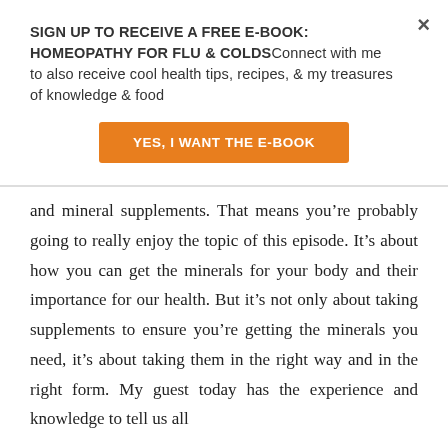SIGN UP TO RECEIVE A FREE E-BOOK: HOMEOPATHY FOR FLU & COLDSConnect with me to also receive cool health tips, recipes, & my treasures of knowledge & food
[Figure (other): Orange CTA button with text YES, I WANT THE E-BOOK]
and mineral supplements. That means you’re probably going to really enjoy the topic of this episode. It’s about how you can get the minerals for your body and their importance for our health. But it’s not only about taking supplements to ensure you’re getting the minerals you need, it’s about taking them in the right way and in the right form. My guest today has the experience and knowledge to tell us all